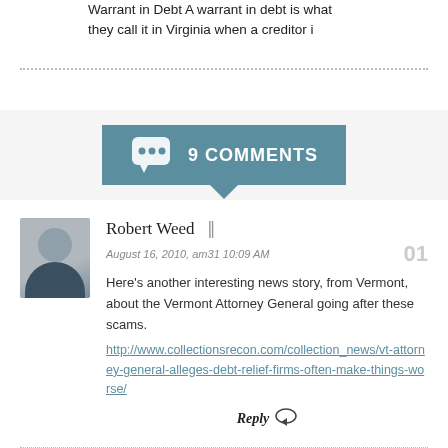Warrant in Debt A warrant in debt is what they call it in Virginia when a creditor i
[Figure (infographic): 9 COMMENTS banner with speech bubble icon on teal/blue-grey background with downward pointing triangle]
Robert Weed |
August 16, 2010, am31 10:09 AM
Here's another interesting news story, from Vermont, about the Vermont Attorney General going after these scams.
http://www.collectionsrecon.com/collection_news/vt-attorney-general-alleges-debt-relief-firms-often-make-things-worse/
Reply